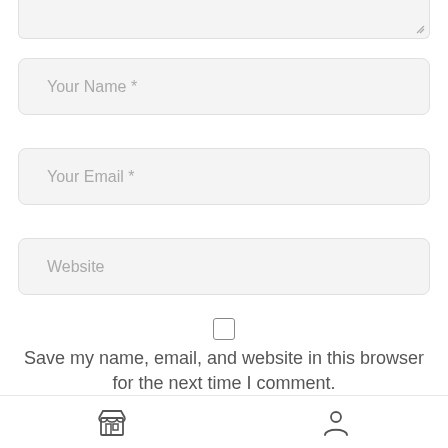[Figure (screenshot): Top portion of a textarea input field (cropped at top), with a resize handle at bottom-right corner]
Your Name *
Your Email *
Website
Save my name, email, and website in this browser for the next time I comment.
[Figure (screenshot): Partial view of a rounded button at the bottom of a comment form]
[Figure (screenshot): Bottom navigation bar with a store/shop icon on the left and a person/account icon on the right]